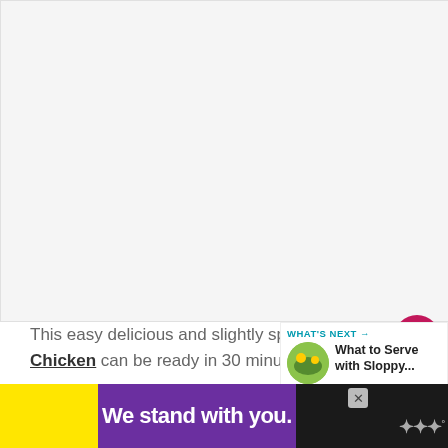[Figure (photo): Large white/empty image area representing a recipe photo placeholder]
[Figure (illustration): Heart/like button (crimson circle with white heart icon), count of 1, and share button]
This easy delicious and slightly spicy Kung Pao Chicken can be ready in 30 minutes and your whole family will love it.
[Figure (screenshot): What's Next panel showing thumbnail image and title 'What to Serve with Sloppy...' with cyan WHAT'S NEXT arrow header]
[Figure (screenshot): Advertisement banner: yellow section, purple section with 'We stand with you.' text in white, black section, close button, and logo]